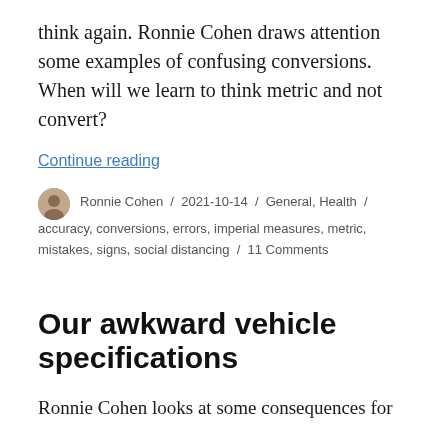think again. Ronnie Cohen draws attention some examples of confusing conversions. When will we learn to think metric and not convert?
Continue reading
Ronnie Cohen / 2021-10-14 / General, Health / accuracy, conversions, errors, imperial measures, metric, mistakes, signs, social distancing / 11 Comments
Our awkward vehicle specifications
Ronnie Cohen looks at some consequences for